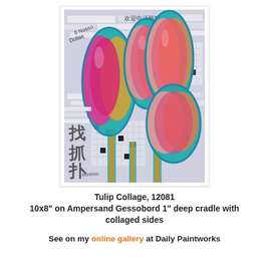[Figure (illustration): A colorful tulip collage painting on a background of newspaper clippings including Chinese text, crossword patterns, and various print ephemera. Three large tulip blooms in pink, magenta, orange, and yellow with teal/blue outlines dominate the composition. Artist signature visible at bottom left.]
Tulip Collage, 12081
10x8" on Ampersand Gessobord 1" deep cradle with collaged sides
See on my online gallery at Daily Paintworks